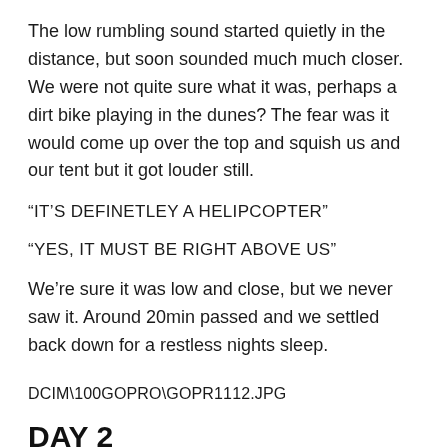The low rumbling sound started quietly in the distance, but soon sounded much much closer. We were not quite sure what it was, perhaps a dirt bike playing in the dunes? The fear was it would come up over the top and squish us and our tent but it got louder still.
“IT'S DEFINETLEY A HELIPCOPTER”
“YES, IT MUST BE RIGHT ABOVE US”
We’re sure it was low and close, but we never saw it. Around 20min passed and we settled back down for a restless nights sleep.
DCIM\100GOPRO\GOPR1112.JPG
DAY 2